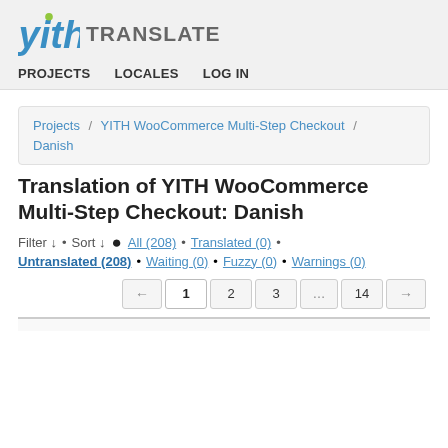yith TRANSLATE
PROJECTS   LOCALES   LOG IN
Projects / YITH WooCommerce Multi-Step Checkout / Danish
Translation of YITH WooCommerce Multi-Step Checkout: Danish
Filter ↓ • Sort ↓ ● All (208) • Translated (0) • Untranslated (208) • Waiting (0) • Fuzzy (0) • Warnings (0)
← 1 2 3 … 14 →